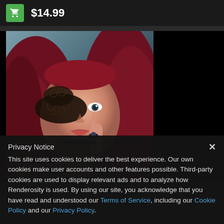$14.99
[Figure (illustration): 3D rendered portrait of a woman with dark red/burgundy hair and an ornate black lace masquerade mask covering one eye, wearing a choker necklace, with one hand raised near her face showing a ring. The image has a cursive text watermark at the bottom. Right portion of the image area is black.]
Privacy Notice
This site uses cookies to deliver the best experience. Our own cookies make user accounts and other features possible. Third-party cookies are used to display relevant ads and to analyze how Renderosity is used. By using our site, you acknowledge that you have read and understood our Terms of Service, including our Cookie Policy and our Privacy Policy.